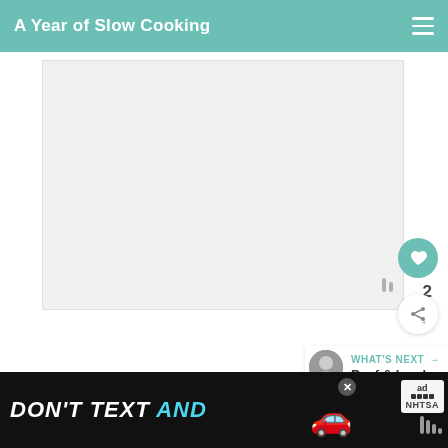A Year of Slow Cooking
[Figure (photo): Main recipe photo placeholder - light gray rectangle]
2
WHAT'S NEXT → Beef & Lamb
The french bread shown here is gluten free, it's from the Against
[Figure (other): Advertisement banner: DON'T TEXT AND [car emoji] with NHTSA ad badge]